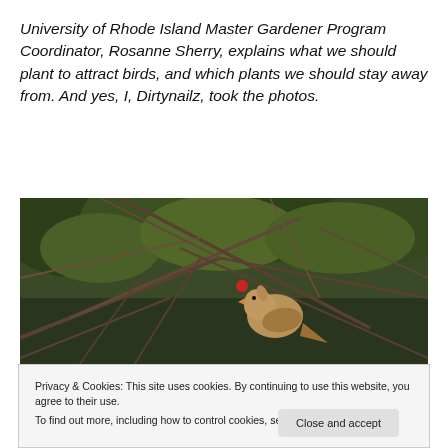University of Rhode Island Master Gardener Program Coordinator, Rosanne Sherry, explains what we should plant to attract birds, and which plants we should stay away from. And yes, I, Dirtynailz, took the photos.
[Figure (photo): A bird (appears to be a female cardinal) perched among bare branches with green foliage in the background and a small red berry visible.]
Privacy & Cookies: This site uses cookies. By continuing to use this website, you agree to their use.
To find out more, including how to control cookies, see here: Cookie Policy